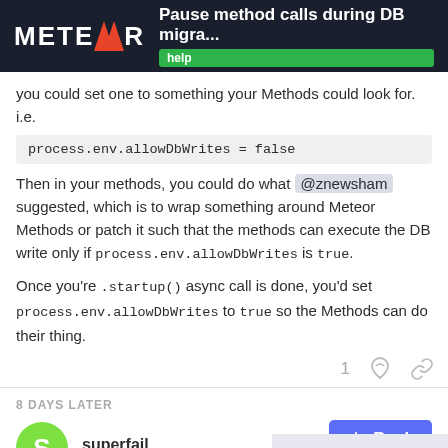Pause method calls during DB migra... | help
you could set one to something your Methods could look for. i.e.
process.env.allowDbWrites = false
Then in your methods, you could do what @znewsham suggested, which is to wrap something around Meteor Methods or patch it such that the methods can execute the DB write only if process.env.allowDbWrites is true.
Once you're .startup() async call is done, you'd set process.env.allowDbWrites to true so the Methods can do their thing.
8 DAYS LATER
superfail
3 / 6